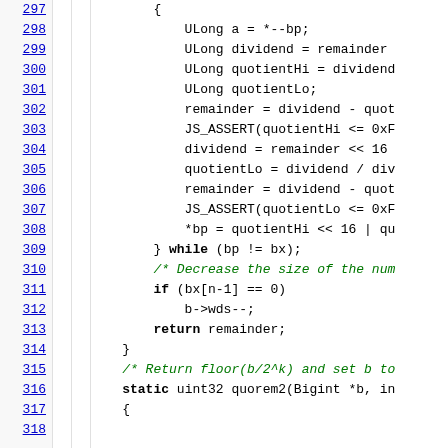[Figure (screenshot): Source code viewer showing lines 297-318 of C/C++ code with line numbers on the left, featuring bignum division logic with ULong variables, JS_ASSERT calls, while loop, if statement, return statement, and start of quorem2 function.]